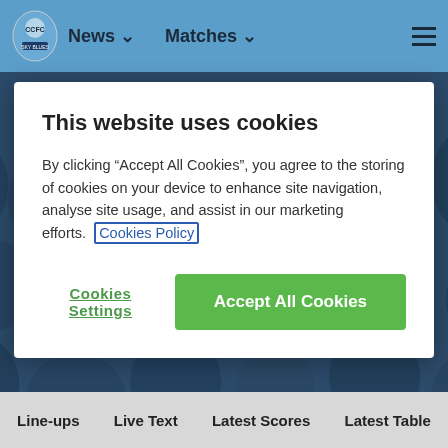News ∨   Matches ∨
This website uses cookies
By clicking "Accept All Cookies", you agree to the storing of cookies on your device to enhance site navigation, analyse site usage, and assist in our marketing efforts.   Cookies Policy
Cookies Settings
Accept All Cookies
Line-ups   Live Text   Latest Scores   Latest Table